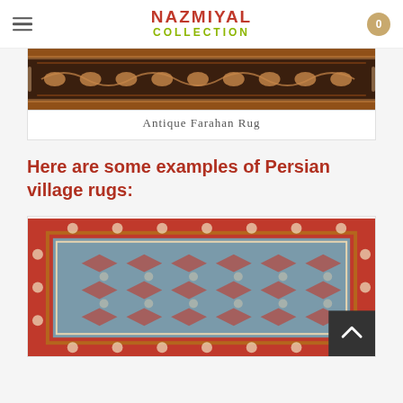Nazmiyal Collection
[Figure (photo): Close-up image of the border of an antique Farahan rug with intricate patterns in copper/rust tones on a dark background]
Antique Farahan Rug
Here are some examples of Persian village rugs:
[Figure (photo): Persian village rug with a red/rust border and a blue-grey field with intricate floral and geometric all-over pattern]